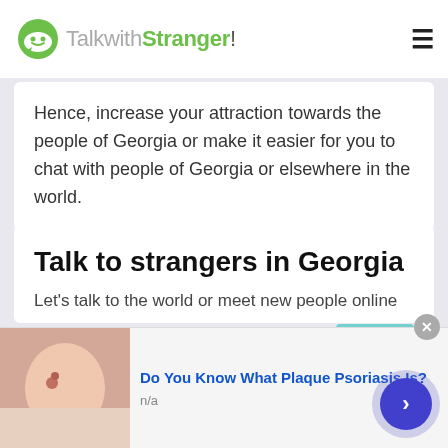TalkwithStranger!
Hence, increase your attraction towards the people of Georgia or make it easier for you to chat with people of Georgia or elsewhere in the world.
Talk to strangers in Georgia
Let's talk to the world or meet new people online
The use of online chat apps and social media apps have spiked throughout the world. Yes, we are living
[Figure (other): Advertisement banner with skin condition image. Title: Do You Know What Plaque Psoriasis Is? n/a]